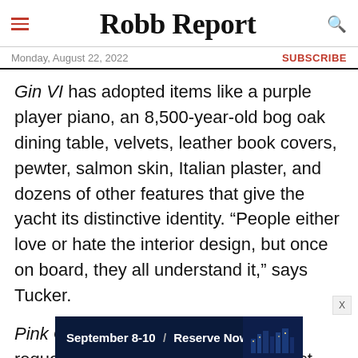Robb Report
Monday, August 22, 2022
SUBSCRIBE
Gin VI has adopted items like a purple player piano, an 8,500-year-old bog oak dining table, velvets, leather book covers, pewter, salmon skin, Italian plaster, and dozens of other features that give the yacht its distinctive identity. “People either love or hate the interior design, but once on board, they all understand it,” says Tucker.
Pink Gin VI’s owner had originally requested an interior similar to the last Pink Gin, says Tucker, “but better.” Tucker, who also designed the
[Figure (screenshot): Advertisement banner: September 8-10 / Reserve Now with arrow, dark blue background with city skyline image]